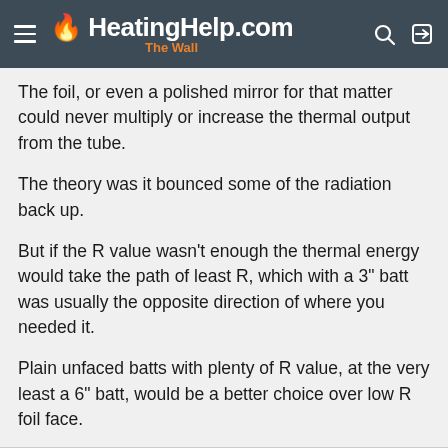HeatingHelp.com The Wall
The foil, or even a polished mirror for that matter could never multiply or increase the thermal output from the tube.
The theory was it bounced some of the radiation back up.
But if the R value wasn't enough the thermal energy would take the path of least R, which with a 3" batt was usually the opposite direction of where you needed it.
Plain unfaced batts with plenty of R value, at the very least a 6" batt, would be a better choice over low R foil face.
Smoke and mirrors comes to mind.